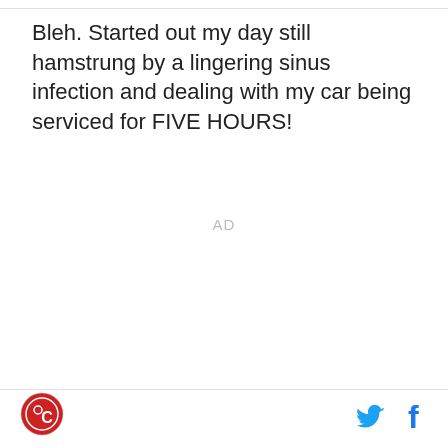Bleh. Started out my day still hamstrung by a lingering sinus infection and dealing with my car being serviced for FIVE HOURS!
AD
[Figure (logo): Red circular logo with stylized letter C in the bottom-right area of footer]
[Figure (logo): Twitter bird icon in blue]
[Figure (logo): Facebook f icon in blue]